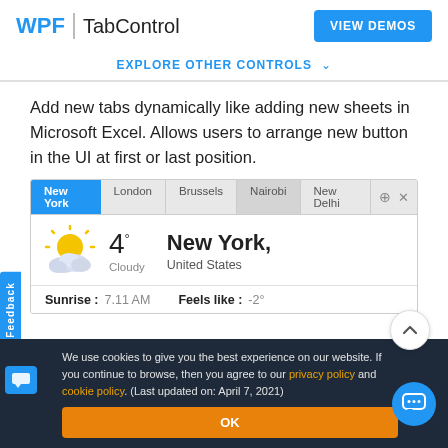WPF | TabControl  VIEW DEMOS
EXPLORE OTHER CONTROLS ∨
Add new tabs dynamically like adding new sheets in Microsoft Excel. Allows users to arrange new button in the UI at first or last position.
[Figure (screenshot): Screenshot of a WPF TabControl showing tabs: New York (active, blue), London, Brussels, Nairobi, New Delhi, with a + and x button. Weather widget showing 4° Cloudy, New York United States with sun/cloud icon. Sunrise: 7.11 AM, Feels like: -2°]
We use cookies to give you the best experience on our website. If you continue to browse, then you agree to our privacy policy and cookie policy.  (Last updated on: April 7, 2021)
OK